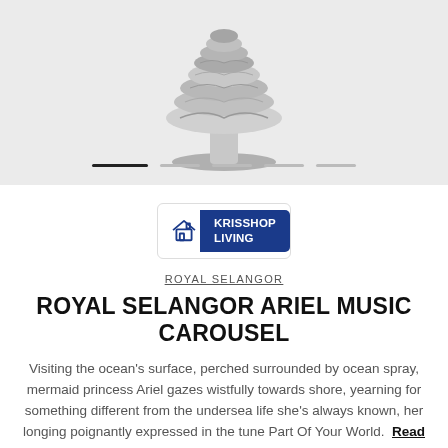[Figure (photo): A silver metallic decorative music carousel figurine (Royal Selangor Ariel Music Carousel) photographed against a light gray background. The item appears sculptural with layered, flowing forms on a circular base.]
[Figure (logo): KrisShop Living badge logo: a white rounded rectangle with a house icon on the left and a dark navy blue rectangular section on the right reading 'KRISSHOP LIVING' in white bold text.]
ROYAL SELANGOR
ROYAL SELANGOR ARIEL MUSIC CAROUSEL
Visiting the ocean's surface, perched surrounded by ocean spray, mermaid princess Ariel gazes wistfully towards shore, yearning for something different from the undersea life she's always known, her longing poignantly expressed in the tune Part Of Your World. Read more